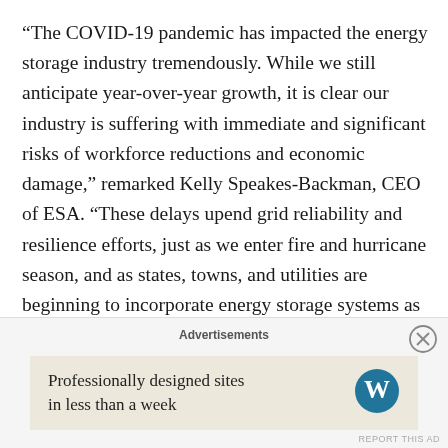“The COVID-19 pandemic has impacted the energy storage industry tremendously. While we still anticipate year-over-year growth, it is clear our industry is suffering with immediate and significant risks of workforce reductions and economic damage,” remarked Kelly Speakes-Backman, CEO of ESA. “These delays upend grid reliability and resilience efforts, just as we enter fire and hurricane season, and as states, towns, and utilities are beginning to incorporate energy storage systems as backup power to prevent power system disruptions for critical healthcare facilities. As such, ESA is actively seeking immediate relief from Congress and the Administration to relieve the financial stresses on our members and the industry, which represents more than 60,000 people, caused
Advertisements
Professionally designed sites in less than a week